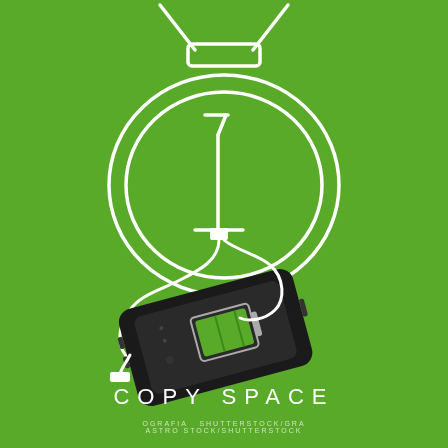[Figure (illustration): Green background poster illustration showing a number-one medal/ribbon drawn as a continuous white line that forms both the medal shape (oval with '1' number inside) and a charging cable connecting to a dark smartphone at the bottom. The phone screen shows a battery charging icon. The cable/cord forms loops creating the medal shape, with a USB connector visible at the bottom connecting to the phone.]
COPY SPACE
OGRAFIA  SHUTTERSTOCK/GRA
ASTRO STOCK/SHUTTERSTOCK